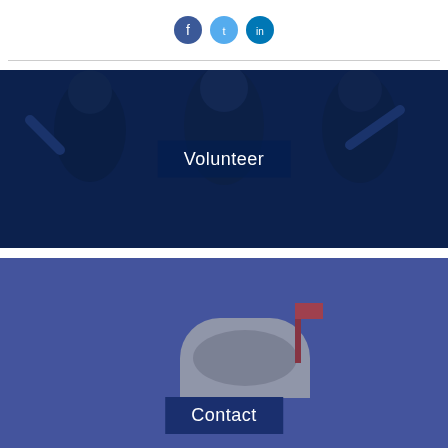[Figure (illustration): Three circular social media icons: Facebook (dark blue), Twitter (light blue), LinkedIn (medium blue)]
[Figure (photo): Photo of three women making peace signs outdoors with a blue dark overlay, with a 'Volunteer' label overlay in the center]
[Figure (photo): Photo of a mailbox on a blue-purple background with a 'Contact' label overlay at the bottom center]